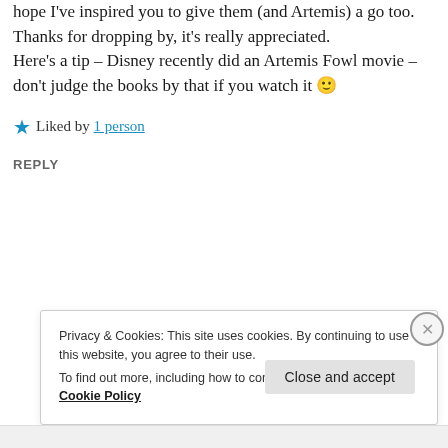I hope it's a winner for your friends and I hope I've inspired you to give them (and Artemis) a go too. Thanks for dropping by, it's really appreciated.
Here's a tip – Disney recently did an Artemis Fowl movie – don't judge the books by that if you watch it 🙂
★ Liked by 1 person
REPLY
Privacy & Cookies: This site uses cookies. By continuing to use this website, you agree to their use.
To find out more, including how to control cookies, see here: Cookie Policy
Close and accept